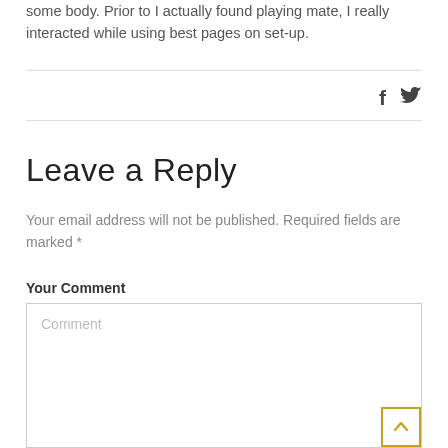some body. Prior to I actually found playing mate, I really interacted while using best pages on set-up.
f  🐦
Leave a Reply
Your email address will not be published. Required fields are marked *
Your Comment
Comment